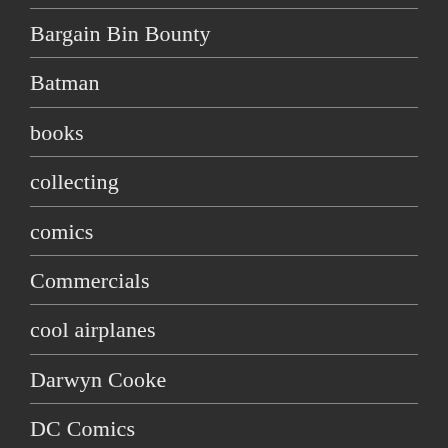Bargain Bin Bounty
Batman
books
collecting
comics
Commercials
cool airplanes
Darwyn Cooke
DC Comics